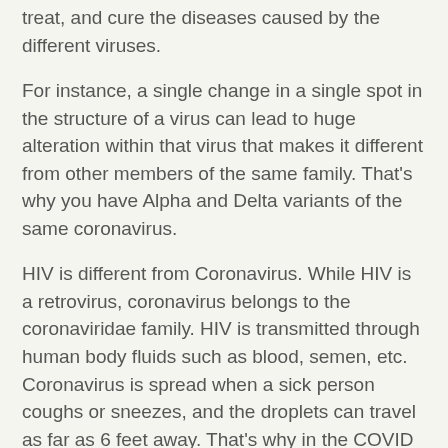treat, and cure the diseases caused by the different viruses.
For instance, a single change in a single spot in the structure of a virus can lead to huge alteration within that virus that makes it different from other members of the same family. That's why you have Alpha and Delta variants of the same coronavirus.
HIV is different from Coronavirus. While HIV is a retrovirus, coronavirus belongs to the coronaviridae family. HIV is transmitted through human body fluids such as blood, semen, etc. Coronavirus is spread when a sick person coughs or sneezes, and the droplets can travel as far as 6 feet away. That's why in the COVID pandemic, you are asked to wear face masks, stay 6 feet apart, and is also why we have lockdowns.
Because of the differences in their structure and genetic makeup, the treatments for HIV and COVID are also different. HIV has been particularly difficult to treat because it is a far more elusive virus and also because of the part...